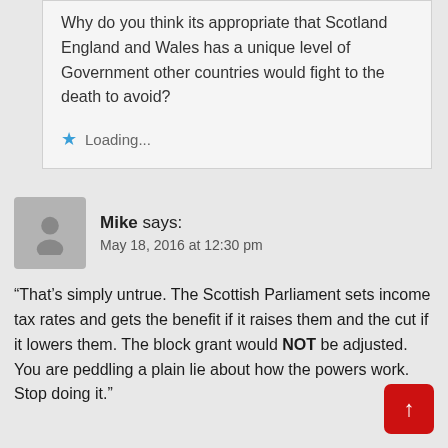Why do you think its appropriate that Scotland England and Wales has a unique level of Government other countries would fight to the death to avoid?
Loading...
Mike says: May 18, 2016 at 12:30 pm
“That's simply untrue. The Scottish Parliament sets income tax rates and gets the benefit if it raises them and the cut if it lowers them. The block grant would NOT be adjusted. You are peddling a plain lie about how the powers work. Stop doing it.”